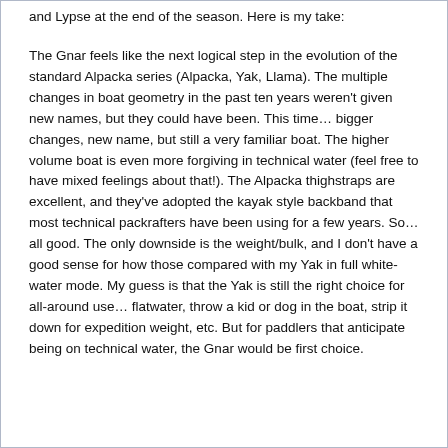and Lypse at the end of the season. Here is my take:
The Gnar feels like the next logical step in the evolution of the standard Alpacka series (Alpacka, Yak, Llama). The multiple changes in boat geometry in the past ten years weren't given new names, but they could have been. This time... bigger changes, new name, but still a very familiar boat. The higher volume boat is even more forgiving in technical water (feel free to have mixed feelings about that!). The Alpacka thighstraps are excellent, and they've adopted the kayak style backband that most technical packrafters have been using for a few years. So... all good. The only downside is the weight/bulk, and I don't have a good sense for how those compared with my Yak in full white-water mode. My guess is that the Yak is still the right choice for all-around use... flatwater, throw a kid or dog in the boat, strip it down for expedition weight, etc. But for paddlers that anticipate being on technical water, the Gnar would be first choice.